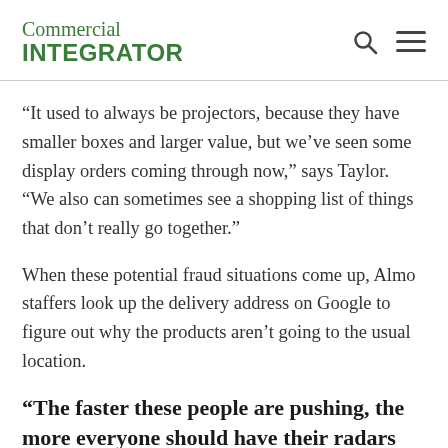Commercial INTEGRATOR
“It used to always be projectors, because they have smaller boxes and larger value, but we’ve seen some display orders coming through now,” says Taylor. “We also can sometimes see a shopping list of things that don’t really go together.”
When these potential fraud situations come up, Almo staffers look up the delivery address on Google to figure out why the products aren’t going to the usual location.
“The faster these people are pushing, the more everyone should have their radars up.”
These fraud attempts happen at least a couple of times